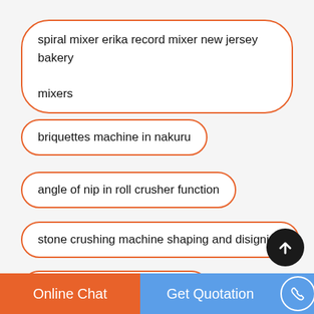spiral mixer erika record mixer new jersey bakery mixers
briquettes machine in nakuru
angle of nip in roll crusher function
stone crushing machine shaping and disigning
dust collector model dsm 355
Online Chat   Get Quotation